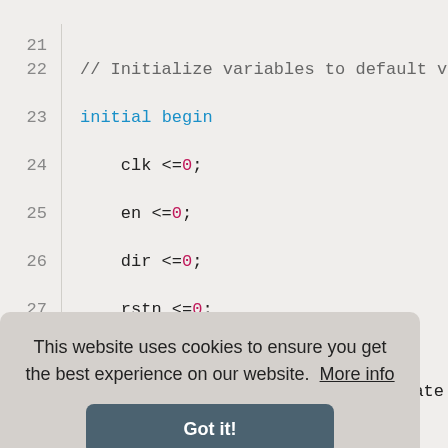[Figure (screenshot): Code editor screenshot showing Verilog/SystemVerilog testbench code, lines 21-42, with syntax highlighting. Lines show variable initialization in an initial begin block and the start of a stimulus block.]
This website uses cookies to ensure you get the best experience on our website. More info
Got it!